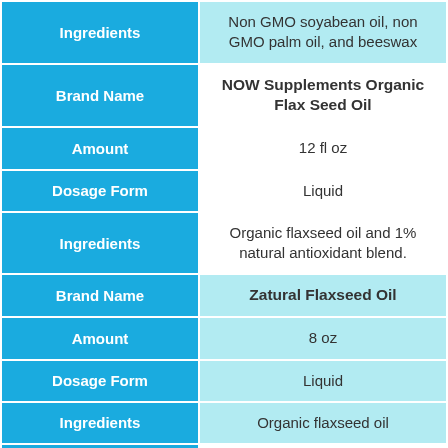| Field | Value |
| --- | --- |
| Ingredients | Non GMO soyabean oil, non GMO palm oil, and beeswax |
| Brand Name | NOW Supplements Organic Flax Seed Oil |
| Amount | 12 fl oz |
| Dosage Form | Liquid |
| Ingredients | Organic flaxseed oil and 1% natural antioxidant blend. |
| Brand Name | Zatural Flaxseed Oil |
| Amount | 8 oz |
| Dosage Form | Liquid |
| Ingredients | Organic flaxseed oil |
| Brand Name | Kuche Chef Organic Cast Iron Oil & Conditioner |
| Amount | 4 oz |